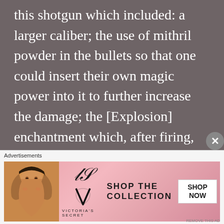this shotgun which included: a larger caliber; the use of mithril powder in the bullets so that one could insert their own magic power into it to further increase the damage; the [Explosion] enchantment which, after firing, makes the shell explode and scatters the shots more forcefully.
With all of these improvements, even an A rank monster would be shot through. If the target was an ordinary golem, it would most probably be turned into scrap metal. As for th...
Advertisements
[Figure (photo): Victoria's Secret advertisement banner with a woman's photo on the left, VS logo in center, 'SHOP THE COLLECTION' text, and a 'SHOP NOW' button on a pink gradient background.]